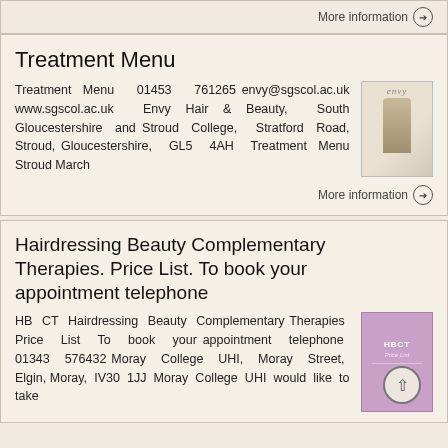More information →
Treatment Menu
Treatment Menu 01453 761265 envy@sgscol.ac.uk www.sgscol.ac.uk Envy Hair & Beauty, South Gloucestershire and Stroud College, Stratford Road, Stroud, Gloucestershire, GL5 4AH Treatment Menu Stroud March
More information →
Hairdressing Beauty Complementary Therapies. Price List. To book your appointment telephone
HB CT Hairdressing Beauty Complementary Therapies Price List To book your appointment telephone 01343 576432 Moray College UHI, Moray Street, Elgin, Moray, IV30 1JJ Moray College UHI would like to take